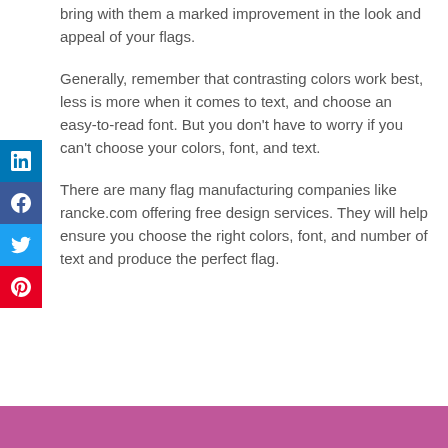bring with them a marked improvement in the look and appeal of your flags.
Generally, remember that contrasting colors work best, less is more when it comes to text, and choose an easy-to-read font. But you don't have to worry if you can't choose your colors, font, and text.
There are many flag manufacturing companies like rancke.com offering free design services. They will help ensure you choose the right colors, font, and number of text and produce the perfect flag.